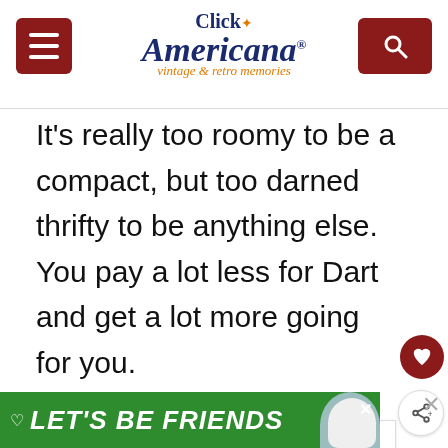Click Americana – vintage & retro memories
It's really too roomy to be a compact, but too darned thrifty to be anything else. You pay a lot less for Dart and get a lot more going for you.

Your Dodge Dealer has a full line of Darts. In 2 series, 9 models. Convertibles, sedans, a hardtop, wagons, the works! See him a one of The Dependables.
[Figure (screenshot): WHAT'S NEXT banner with thumbnail image and text '20 vintage 1960s kitche...']
[Figure (screenshot): Green LET'S BE FRIENDS advertisement banner with dog illustration]